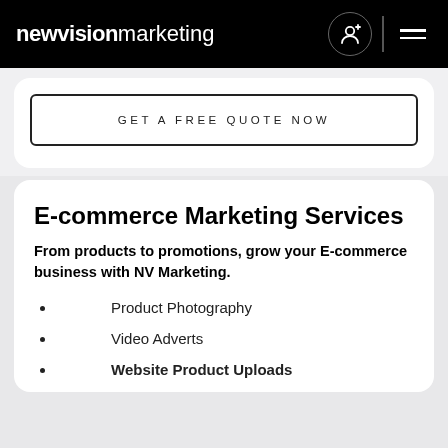newvisionmarketing
GET A FREE QUOTE NOW
E-commerce Marketing Services
From products to promotions, grow your E-commerce business with NV Marketing.
Product Photography
Video Adverts
Website Product Uploads